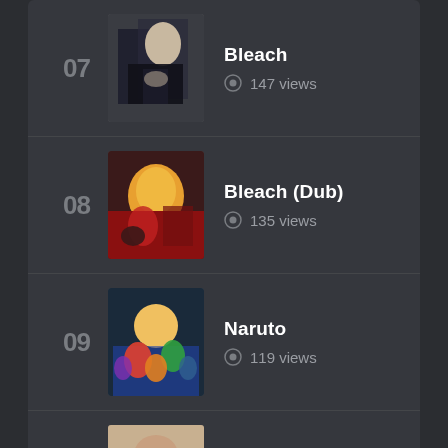07 Bleach 147 views
08 Bleach (Dub) 135 views
09 Naruto 119 views
10 Touch 115 views